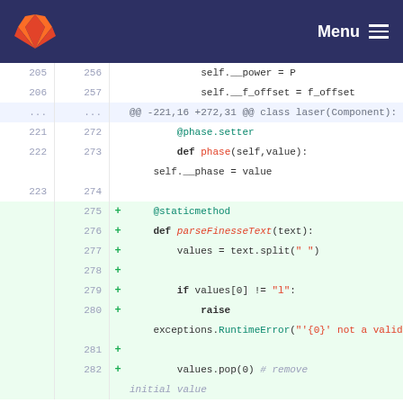GitLab Menu
205 256     self.__power = P
206 257     self.__f_offset = f_offset
... ...     @@ -221,16 +272,31 @@ class laser(Component):
221 272     @phase.setter
222 273     def phase(self,value):
                self.__phase = value
223 274
    275 +   @staticmethod
    276 +   def parseFinesseText(text):
    277 +       values = text.split(" ")
    278 +
    279 +       if values[0] != "l":
    280 +           raise exceptions.RuntimeError("'{0}' not a valid Finesse laser command".format(text))
    281 +
    282 +       values.pop(0)  # remove initial value